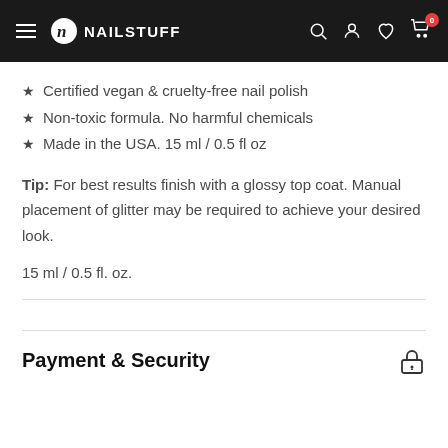NAILSTUFF — navigation header with hamburger menu, logo, search, account, wishlist, and cart icons
★ Certified vegan & cruelty-free nail polish
★ Non-toxic formula. No harmful chemicals
★ Made in the USA. 15 ml / 0.5 fl oz
Tip: For best results finish with a glossy top coat. Manual placement of glitter may be required to achieve your desired look.
15 ml / 0.5 fl. oz.
Payment & Security